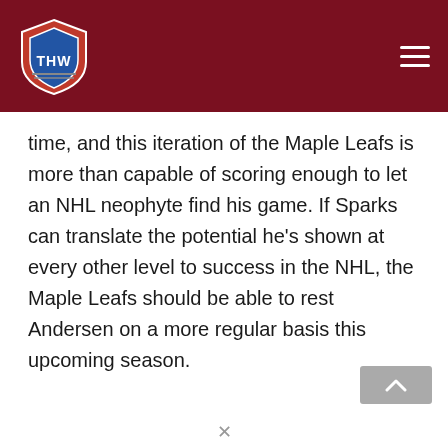[Figure (logo): THW hockey website logo with shield design on dark red navigation bar with hamburger menu icon]
time, and this iteration of the Maple Leafs is more than capable of scoring enough to let an NHL neophyte find his game. If Sparks can translate the potential he's shown at every other level to success in the NHL, the Maple Leafs should be able to rest Andersen on a more regular basis this upcoming season.